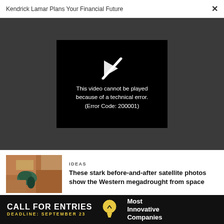Kendrick Lamar Plans Your Financial Future
[Figure (screenshot): Video player showing error: This video cannot be played because of a technical error. (Error Code: 200001)]
IDEAS
These stark before-and-after satellite photos show the Western megadrought from space
IDEAS
[Figure (infographic): Advertisement banner: CALL FOR ENTRIES DEADLINE: SEPTEMBER 23 Most Innovative Companies]